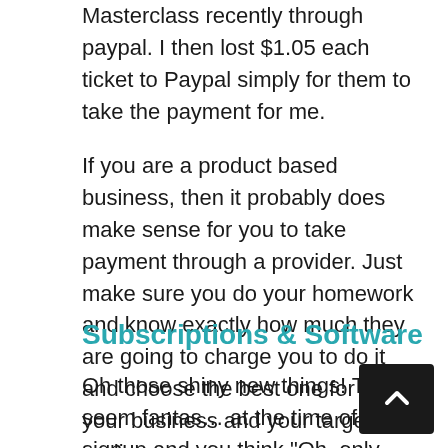Masterclass recently through paypal. I then lost $1.05 each ticket to Paypal simply for them to take the payment for me.
If you are a product based business, then it probably does make sense for you to take payment through a provider. Just make sure you do your homework and know exactly how much they are going to charge you to do it and choose the best one for you, your business and your target audience.
Subscriptions & Software
Oh those shiny new things! They seem fantas… at the time of signup and you think "Oh, only